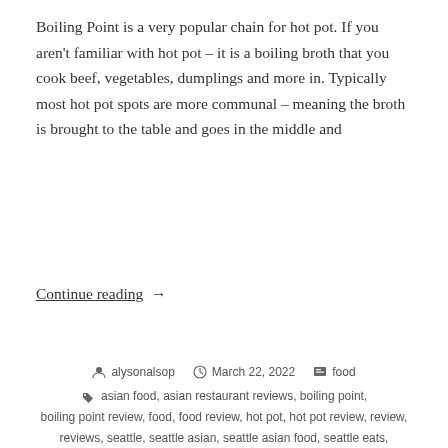Boiling Point is a very popular chain for hot pot. If you aren't familiar with hot pot – it is a boiling broth that you cook beef, vegetables, dumplings and more in. Typically most hot pot spots are more communal – meaning the broth is brought to the table and goes in the middle and
Continue reading  →
alysonalsop  March 22, 2022  food  asian food, asian restaurant reviews, boiling point, boiling point review, food, food review, hot pot, hot pot review, review, reviews, seattle, seattle asian, seattle asian food, seattle eats, seattle food, seattle hot pot, seattle restaurant, seattle restaurants, seattle review, seattle reviews  4 Comments